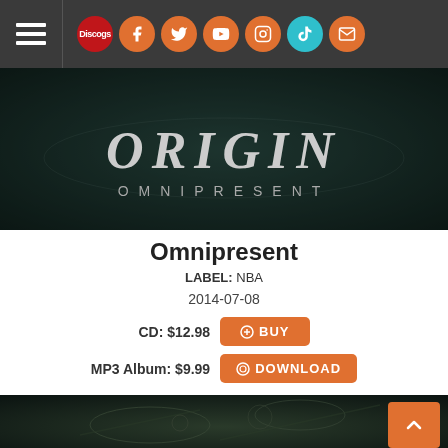Navigation bar with hamburger menu and social icons: Discogs, Facebook, Twitter, YouTube, Instagram, TikTok, Email
[Figure (photo): Origin Omnipresent album banner — dark background with metallic ORIGIN OMNIPRESENT text]
Omnipresent
LABEL: NBA
2014-07-08
CD: $12.98 [BUY button]
MP3 Album: $9.99 [DOWNLOAD button]
[Figure (photo): Dark metallic artwork showing intricate mechanical/organic details from the Omnipresent album cover]